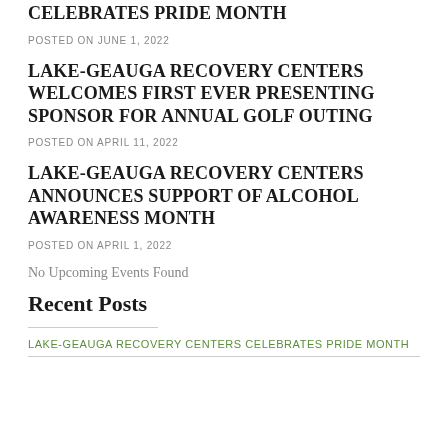CELEBRATES PRIDE MONTH
POSTED ON JUNE 1, 2022
LAKE-GEAUGA RECOVERY CENTERS WELCOMES FIRST EVER PRESENTING SPONSOR FOR ANNUAL GOLF OUTING
POSTED ON APRIL 11, 2022
LAKE-GEAUGA RECOVERY CENTERS ANNOUNCES SUPPORT OF ALCOHOL AWARENESS MONTH
POSTED ON APRIL 1, 2022
No Upcoming Events Found
Recent Posts
LAKE-GEAUGA RECOVERY CENTERS CELEBRATES PRIDE MONTH